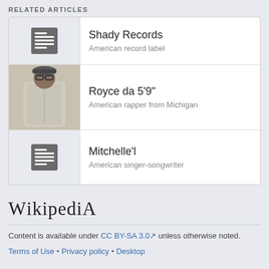RELATED ARTICLES
Shady Records — American record label
Royce da 5'9" — American rapper from Michigan
Mitchelle'l — American singer-songwriter
[Figure (logo): Wikipedia wordmark logo]
Content is available under CC BY-SA 3.0 unless otherwise noted.
Terms of Use • Privacy policy • Desktop